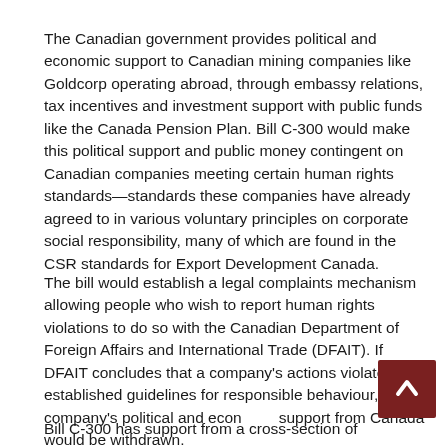The Canadian government provides political and economic support to Canadian mining companies like Goldcorp operating abroad, through embassy relations, tax incentives and investment support with public funds like the Canada Pension Plan. Bill C-300 would make this political support and public money contingent on Canadian companies meeting certain human rights standards—standards these companies have already agreed to in various voluntary principles on corporate social responsibility, many of which are found in the CSR standards for Export Development Canada.
The bill would establish a legal complaints mechanism allowing people who wish to report human rights violations to do so with the Canadian Department of Foreign Affairs and International Trade (DFAIT). If DFAIT concludes that a company's actions violate established guidelines for responsible behaviour, the company's political and economic support from Canada would be withdrawn.
Bill C-300 has support from a cross-section of